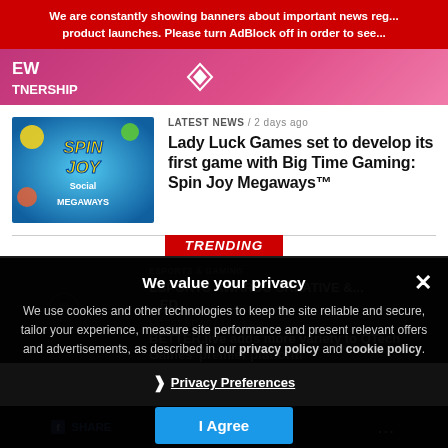We are constantly showing banners about important news reg... product launches. Please turn AdBlock off in order to see...
[Figure (illustration): Partnership banner strip with pink/magenta gradient background, showing partial text 'EW' and 'TNERSHIP' with a diamond logo icon]
LATEST NEWS / 2 days ago
[Figure (illustration): Spin Joy Megaways game thumbnail with colorful fruit slot game background]
Lady Luck Games set to develop its first game with Big Time Gaming: Spin Joy Megaways™
TRENDING
[Figure (screenshot): Dark trending news section with partially visible article thumbnail and title about ESPORTS AWARDS CREATIVE]
BETTER.live adds more variety to QTech Games' premier platform
We value your privacy
We use cookies and other technologies to keep the site reliable and secure, tailor your experience, measure site performance and present relevant offers and advertisements, as described in our privacy policy and cookie policy.
Privacy Preferences
I Agree
SHARE  TWEET  ...